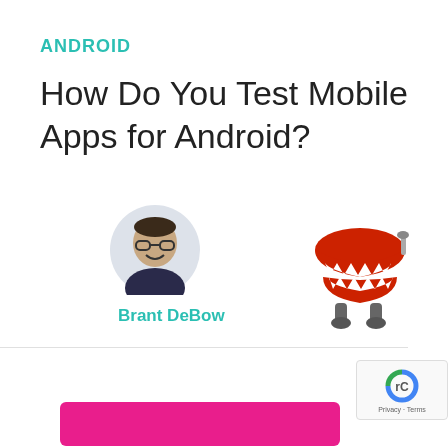ANDROID
How Do You Test Mobile Apps for Android?
[Figure (photo): Circular avatar photo of Brant DeBow, a person with glasses and short dark hair, smiling]
Brant DeBow
[Figure (illustration): Cartoon wind-up chattering teeth toy with grey legs and a metal wind-up key, in red and white colors]
[Figure (logo): Google reCAPTCHA badge with Privacy and Terms text]